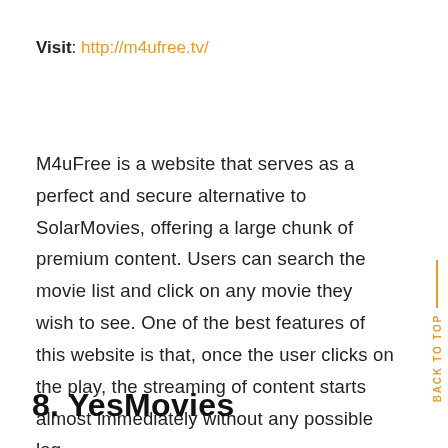Visit: http://m4ufree.tv/
M4uFree is a website that serves as a perfect and secure alternative to SolarMovies, offering a large chunk of premium content. Users can search the movie list and click on any movie they wish to see. One of the best features of this website is that, once the user clicks on the play, the streaming of content starts almost immediately without any possible lag.
8. YesMovies